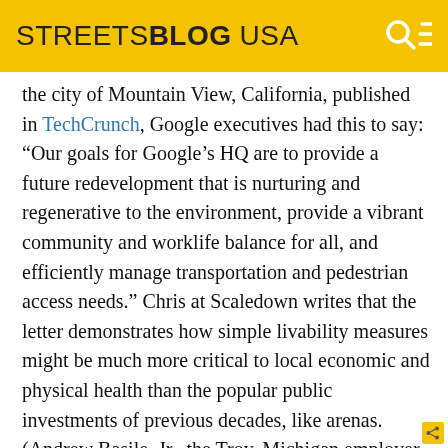STREETSBLOG USA
the city of Mountain View, California, published in TechCrunch, Google executives had this to say: “Our goals for Google’s HQ are to provide a future redevelopment that is nurturing and regenerative to the environment, provide a vibrant community and worklife balance for all, and efficiently manage transportation and pedestrian access needs.” Chris at Scaledown writes that the letter demonstrates how simple livability measures might be much more critical to local economic and physical health than the popular public investments of previous decades, like arenas. (Andrew Basile, Jr., the Troy, Michigan employer whose anti-sprawl letter we published yesterday, would agree.)